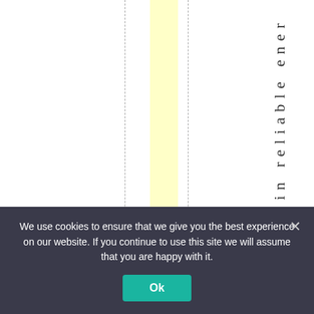[Figure (other): Spreadsheet/table view with dashed vertical column lines, one column highlighted in yellow, and vertical text reading 'only in reliable ener' on the right side]
We use cookies to ensure that we give you the best experience on our website. If you continue to use this site we will assume that you are happy with it. Ok